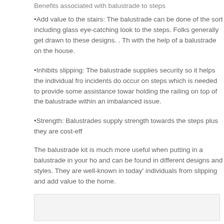Benefits associated with balustrade to steps
•Add value to the stairs: The balustrade can be done of the sort including glass eye-catching look to the steps. Folks generally get drawn to these designs. . Th with the help of a balustrade on the house.
•Inhibits slipping: The balustrade supplies security so it helps the individual fro incidents do occur on steps which is needed to provide some assistance towar holding the railing on top of the balustrade within an imbalanced issue.
•Strength: Balustrades supply strength towards the steps plus they are cost-eff
The balustrade kit is much more useful when putting in a balustrade in your ho and can be found in different designs and styles. They are well-known in today' individuals from slipping and add value to the home.
Posted in Service
Tagged balustrade, kit
[Figure (other): Light gray rounded rectangle box at the bottom of the page]